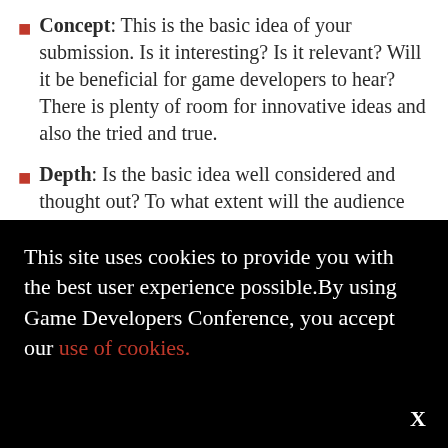Concept: This is the basic idea of your submission. Is it interesting? Is it relevant? Will it be beneficial for game developers to hear? There is plenty of room for innovative ideas and also the tried and true.
Depth: Is the basic idea well considered and thought out? To what extent will the audience gain insight? The more in-depth, the better.
Organization: Are your ideas conducive to
This site uses cookies to provide you with the best user experience possible.By using Game Developers Conference, you accept our use of cookies.